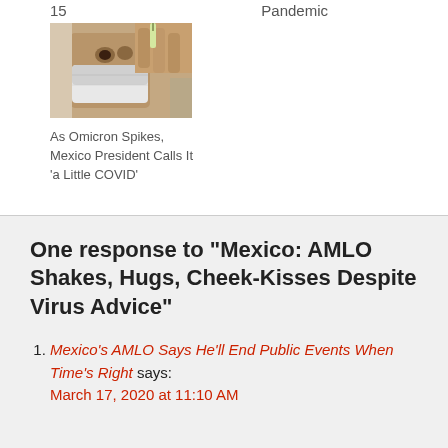15
Pandemic
[Figure (photo): Person wearing a face mask looking upward, possibly administering eye drops or a nasal spray]
As Omicron Spikes, Mexico President Calls It ‘a Little COVID’
One response to “Mexico: AMLO Shakes, Hugs, Cheek-Kisses Despite Virus Advice”
Mexico’s AMLO Says He’ll End Public Events When Time’s Right says: March 17, 2020 at 11:10 AM